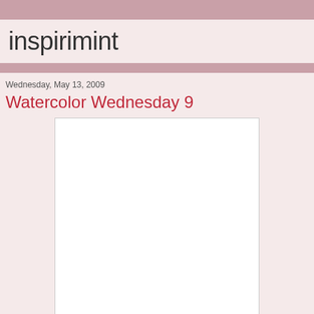inspirimint
Wednesday, May 13, 2009
Watercolor Wednesday 9
[Figure (photo): Empty white rectangular image placeholder with light gray border]